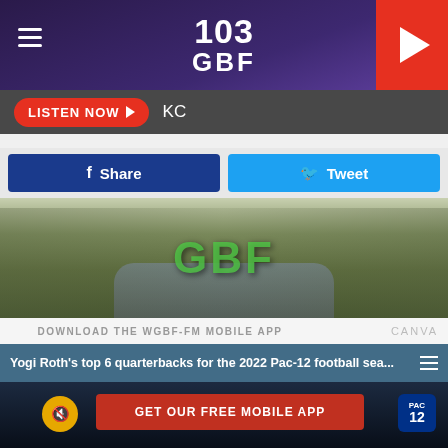[Figure (screenshot): 103 GBF radio station app screenshot with header, listen now bar, social sharing buttons, banner image, download prompt, news ticker and football player overlay]
103 GBF
LISTEN NOW ▶   KC
f  Share
🐦  Tweet
[Figure (photo): GBF outdoor banner/field photo with green grass and stream]
CANVA
DOWNLOAD THE WGBF-FM MOBILE APP
Yogi Roth's top 6 quarterbacks for the 2022 Pac-12 football sea...
GET OUR FREE MOBILE APP
[Figure (photo): Football player in red/white uniform dropping back to pass, with Pac-12 logo and face thumbnail overlay]